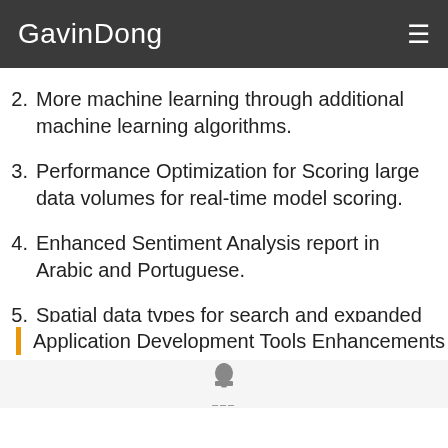GavinDong
2. More machine learning through additional machine learning algorithms.
3. Performance Optimization for Scoring large data volumes for real-time model scoring.
4. Enhanced Sentiment Analysis report in Arabic and Portuguese.
5. Spatial data types for search and expanded graph support continue to drive forward the depth and breadth of insights you can achieve with SAP HANA.
Application Development Tools Enhancements